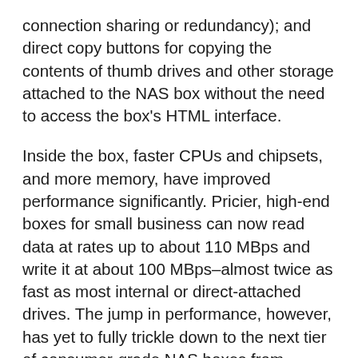connection sharing or redundancy); and direct copy buttons for copying the contents of thumb drives and other storage attached to the NAS box without the need to access the box's HTML interface.
Inside the box, faster CPUs and chipsets, and more memory, have improved performance significantly. Pricier, high-end boxes for small business can now read data at rates up to about 110 MBps and write it at about 100 MBps–almost twice as fast as most internal or direct-attached drives. The jump in performance, however, has yet to fully trickle down to the next tier of consumer-grade NAS boxes from vendors such as LaCie and Buffalo; though far more affordable, these models lack the punch of top-of-the-line products.